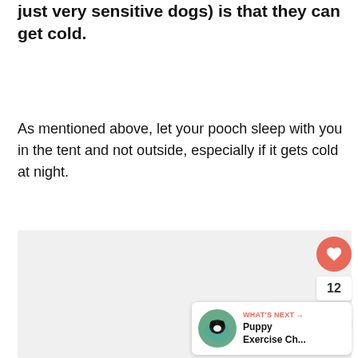just very sensitive dogs) is that they can get cold.
As mentioned above, let your pooch sleep with you in the tent and not outside, especially if it gets cold at night.
[Figure (photo): Large light gray image placeholder area below the body text, taking up the lower portion of the page. Overlaid with a heart/like button (red circle with heart icon), a count badge showing '12', a share button (white circle with share icon), and a 'What's Next' card in the bottom right corner with a puppy photo and text 'Puppy Exercise Ch...']